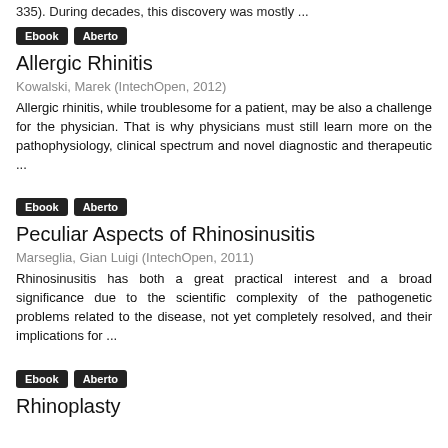335). During decades, this discovery was mostly ...
Ebook  Aberto
Allergic Rhinitis
Kowalski, Marek (IntechOpen, 2012)
Allergic rhinitis, while troublesome for a patient, may be also a challenge for the physician. That is why physicians must still learn more on the pathophysiology, clinical spectrum and novel diagnostic and therapeutic ...
Ebook  Aberto
Peculiar Aspects of Rhinosinusitis
Marseglia, Gian Luigi (IntechOpen, 2011)
Rhinosinusitis has both a great practical interest and a broad significance due to the scientific complexity of the pathogenetic problems related to the disease, not yet completely resolved, and their implications for ...
Ebook  Aberto
Rhinoplasty